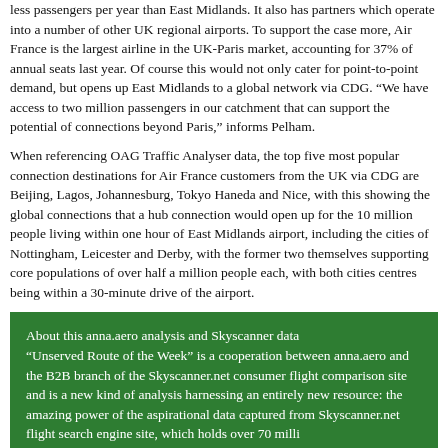less passengers per year than East Midlands. It also has partners which operate into a number of other UK regional airports. To support the case more, Air France is the largest airline in the UK-Paris market, accounting for 37% of annual seats last year. Of course this would not only cater for point-to-point demand, but opens up East Midlands to a global network via CDG. “We have access to two million passengers in our catchment that can support the potential of connections beyond Paris,” informs Pelham.
When referencing OAG Traffic Analyser data, the top five most popular connection destinations for Air France customers from the UK via CDG are Beijing, Lagos, Johannesburg, Tokyo Haneda and Nice, with this showing the global connections that a hub connection would open up for the 10 million people living within one hour of East Midlands airport, including the cities of Nottingham, Leicester and Derby, with the former two themselves supporting core populations of over half a million people each, with both cities centres being within a 30-minute drive of the airport.
About this anna.aero analysis and Skyscanner data “Unserved Route of the Week” is a cooperation between anna.aero and the B2B branch of the Skyscanner.net consumer flight comparison site and is a new kind of analysis harnessing an entirely new resource: the amazing power of the aspirational data captured from Skyscanner.net flight search engine site, which holds over 70 milli...